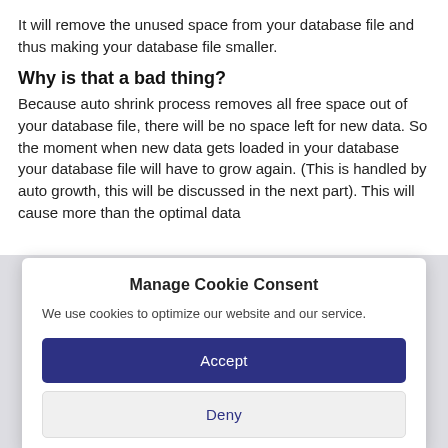It will remove the unused space from your database file and thus making your database file smaller.
Why is that a bad thing?
Because auto shrink process removes all free space out of your database file, there will be no space left for new data. So the moment when new data gets loaded in your database your database file will have to grow again. (This is handled by auto growth, this will be discussed in the next part). This will cause more than the optimal data...
Manage Cookie Consent
We use cookies to optimize our website and our service.
Accept
Deny